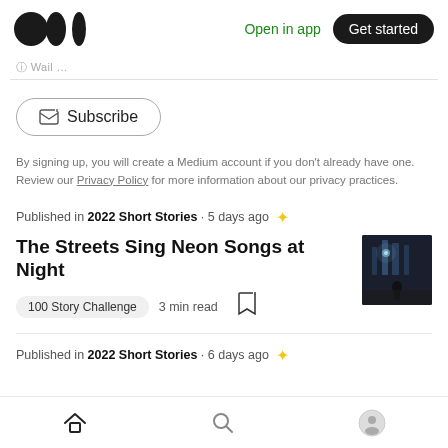Open in app  Get started
Subscribe
By signing up, you will create a Medium account if you don't already have one. Review our Privacy Policy for more information about our privacy practices.
Published in 2022 Short Stories · 5 days ago
The Streets Sing Neon Songs at Night
100 Story Challenge  3 min read
Published in 2022 Short Stories · 6 days ago
Home  Search  Profile